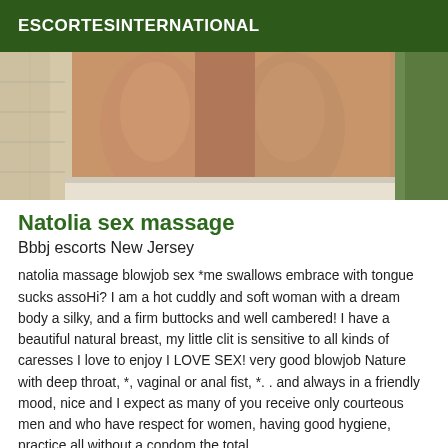ESCORTESINTERNATIONAL
[Figure (photo): Cropped photo showing legs of a person standing outdoors on a patio or terrace, with a stone wall on the left and greenery on the right. The image is cropped to show only the lower body from approximately mid-thigh down.]
Natolia sex massage
Bbbj escorts New Jersey
natolia massage blowjob sex *me swallows embrace with tongue sucks assoHi? I am a hot cuddly and soft woman with a dream body a silky, and a firm buttocks and well cambered! I have a beautiful natural breast, my little clit is sensitive to all kinds of caresses I love to enjoy I LOVE SEX! very good blowjob Nature with deep throat, *, vaginal or anal fist, *. . and always in a friendly mood, nice and I expect as many of you receive only courteous men and who have respect for women, having good hygiene, practice all without a condom the total